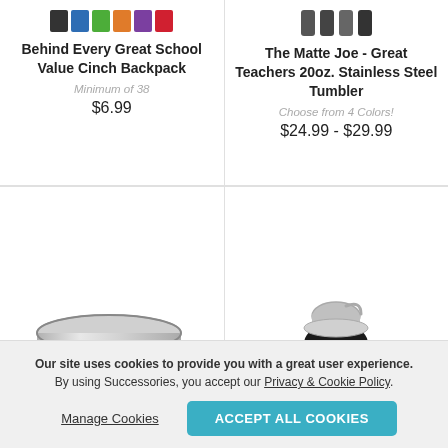[Figure (illustration): Color swatches for backpack: black, blue, green, orange, purple, red]
Behind Every Great School Value Cinch Backpack
Minimum of 38
$6.99
[Figure (illustration): Color swatches for tumbler: 4 dark/black variants]
The Matte Joe - Great Teachers 20oz. Stainless Steel Tumbler
Choose from 4 Colors!
$24.99 - $29.99
[Figure (photo): Stainless steel mug with handle, engraved with TEACHERS text]
[Figure (photo): Black stainless steel water bottle with silver cap and bear/teacher engraving]
Our site uses cookies to provide you with a great user experience. By using Successories, you accept our Privacy & Cookie Policy.
Manage Cookies
ACCEPT ALL COOKIES